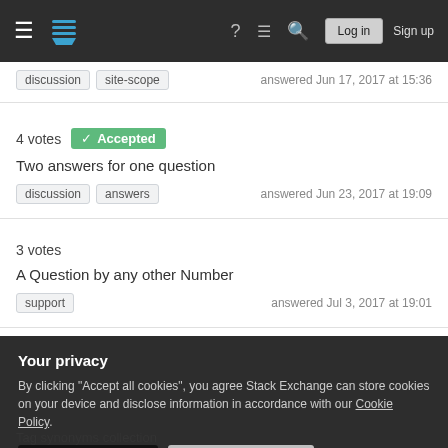Stack Exchange navigation bar with Log in and Sign up
discussion   site-scope   answered Jun 17, 2017 at 15:36
4 votes  Accepted
Two answers for one question
discussion   answers   answered Jun 23, 2017 at 19:09
3 votes
A Question by any other Number
support   answered Jul 3, 2017 at 19:01
Your privacy
By clicking "Accept all cookies", you agree Stack Exchange can store cookies on your device and disclose information in accordance with our Cookie Policy.
Accept all cookies   Customize settings
Tag synonyms collection